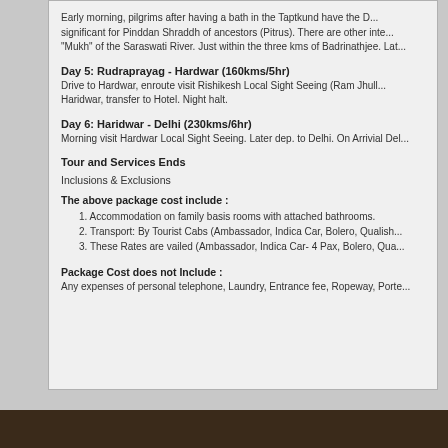Early morning, pilgrims after having a bath in the Taptkund have the D... significant for Pinddan Shraddh of ancestors (Pitrus). There are other inte... "Mukh" of the Saraswati River. Just within the three kms of Badrinathjee. Lat...
Day 5: Rudraprayag - Hardwar (160kms/5hr)
Drive to Hardwar, enroute visit Rishikesh Local Sight Seeing (Ram Jhull... Haridwar, transfer to Hotel. Night halt.
Day 6: Haridwar - Delhi (230kms/6hr)
Morning visit Hardwar Local Sight Seeing. Later dep. to Delhi. On Arrivial Del...
Tour and Services Ends
Inclusions & Exclusions
The above package cost include :
1. Accommodation on family basis rooms with attached bathrooms.
2. Transport: By Tourist Cabs (Ambassador, Indica Car, Bolero, Qualish...
3. These Rates are vailed (Ambassador, Indica Car- 4 Pax, Bolero, Qua...
Package Cost does not Include :
Any expenses of personal telephone, Laundry, Entrance fee, Ropeway, Porte...